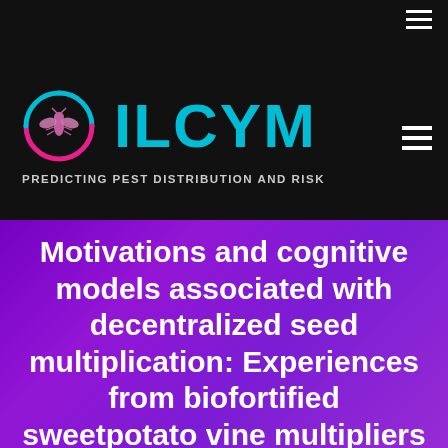[Figure (logo): ILCYM logo with teal text and circular insect icon, tagline: PREDICTING PEST DISTRIBUTION AND RISK]
Motivations and cognitive models associated with decentralized seed multiplication: Experiences from biofortified sweetpotato vine multipliers in Kenya and Ethiopia